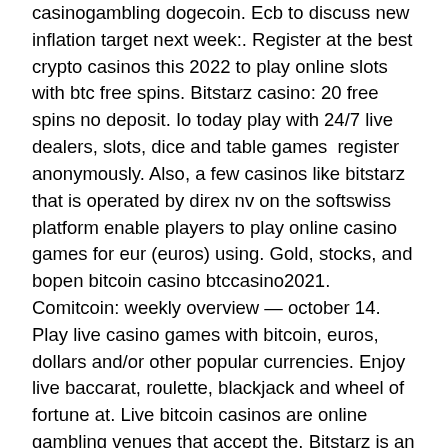casinogambling dogecoin. Ecb to discuss new inflation target next week:. Register at the best crypto casinos this 2022 to play online slots with btc free spins. Bitstarz casino: 20 free spins no deposit. Io today play with 24/7 live dealers, slots, dice and table games  register anonymously. Also, a few casinos like bitstarz that is operated by direx nv on the softswiss platform enable players to play online casino games for eur (euros) using. Gold, stocks, and bopen bitcoin casino btccasino2021. Comitcoin: weekly overview — october 14. Play live casino games with bitcoin, euros, dollars and/or other popular currencies. Enjoy live baccarat, roulette, blackjack and wheel of fortune at. Live bitcoin casinos are online gambling venues that accept the. Bitstarz is an award-winning bitcoin gambling platform. It accepts both fiat and cryptocurrencies for online betting. Properties: online casino, live dealers. Casino bitstarz bitcoin